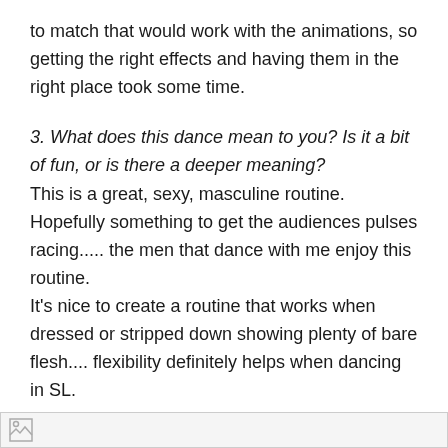to match that would work with the animations, so getting the right effects and having them in the right place took some time.
3. What does this dance mean to you? Is it a bit of fun, or is there a deeper meaning?
This is a great, sexy, masculine routine. Hopefully something to get the audiences pulses racing..... the men that dance with me enjoy this routine.
It’s nice to create a routine that works when dressed or stripped down showing plenty of bare flesh.... flexibility definitely helps when dancing in SL.
4. Is there anything you would like others to know about your dance?
I won’t be retiring this dance! It is way too much fun!
[Figure (photo): Image placeholder at the bottom of the page]